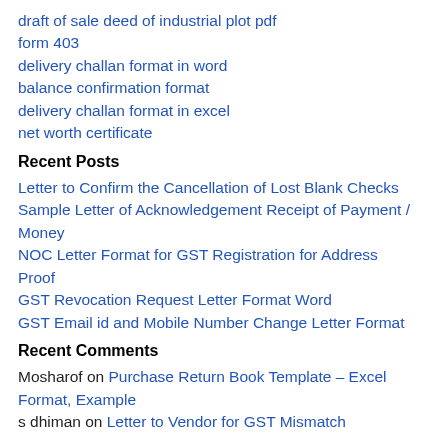draft of sale deed of industrial plot pdf
form 403
delivery challan format in word
balance confirmation format
delivery challan format in excel
net worth certificate
Recent Posts
Letter to Confirm the Cancellation of Lost Blank Checks
Sample Letter of Acknowledgement Receipt of Payment / Money
NOC Letter Format for GST Registration for Address Proof
GST Revocation Request Letter Format Word
GST Email id and Mobile Number Change Letter Format
Recent Comments
Mosharof on Purchase Return Book Template – Excel Format, Example
s dhiman on Letter to Vendor for GST Mismatch